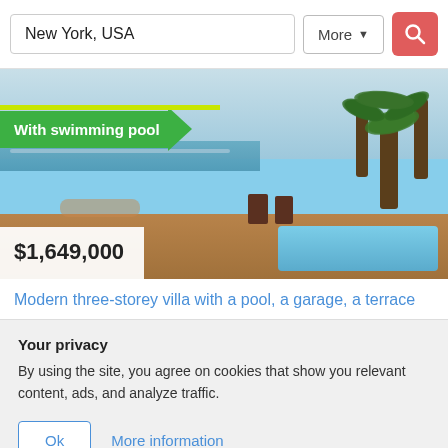New York, USA
More
[Figure (screenshot): Real estate listing photo showing a modern villa terrace with swimming pool, ocean view, palm trees, and outdoor furniture. Price tag shows $1,649,000. Banner reads 'With swimming pool'.]
Modern three-storey villa with a pool, a garage, a terrace
Your privacy
By using the site, you agree on cookies that show you relevant content, ads, and analyze traffic.
Ok
More information